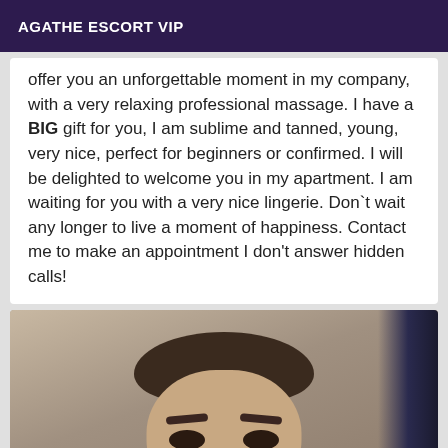AGATHE ESCORT VIP
offer you an unforgettable moment in my company, with a very relaxing professional massage. I have a BIG gift for you, I am sublime and tanned, young, very nice, perfect for beginners or confirmed. I will be delighted to welcome you in my apartment. I am waiting for you with a very nice lingerie. Don`t wait any longer to live a moment of happiness. Contact me to make an appointment I don't answer hidden calls!
[Figure (photo): Close-up photo of a woman's face with dark hair pulled back, visible from forehead to just below the eyes. A dark navy sleeve or clothing item is visible on the right side of the frame.]